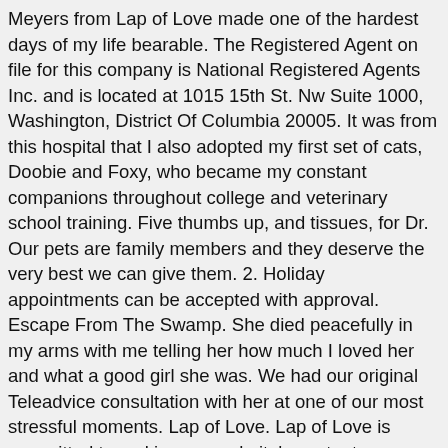Meyers from Lap of Love made one of the hardest days of my life bearable. The Registered Agent on file for this company is National Registered Agents Inc. and is located at 1015 15th St. Nw Suite 1000, Washington, District Of Columbia 20005. It was from this hospital that I also adopted my first set of cats, Doobie and Foxy, who became my constant companions throughout college and veterinary school training. Five thumbs up, and tissues, for Dr. Our pets are family members and they deserve the very best we can give them. 2. Holiday appointments can be accepted with approval. Escape From The Swamp. She died peacefully in my arms with me telling her how much I loved her and what a good girl she was. We had our original Teleadvice consultation with her at one of our most stressful moments. Lap of Love. Lap of Love is committed to making our website's content accessible and user Lap of Love is committed to making our website's content accessible and user She explained the entire process as she went along and helped us understand each procedure. 3:42. avec l'album. accessible or a suggestion for